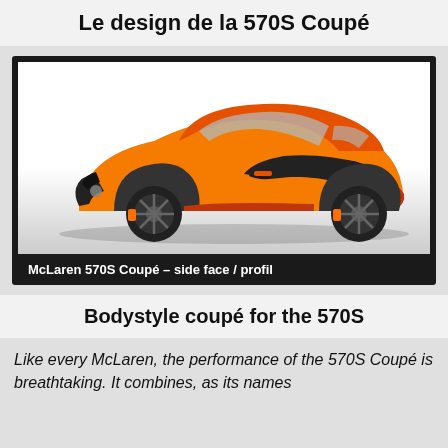Le design de la 570S Coupé
[Figure (photo): Side profile view of an orange McLaren 570S Coupé sports car with black accents on a white-to-grey gradient background]
McLaren 570S Coupé – side face / profil
Bodystyle coupé for the 570S
Like every McLaren, the performance of the 570S Coupé is breathtaking. It combines, as its names